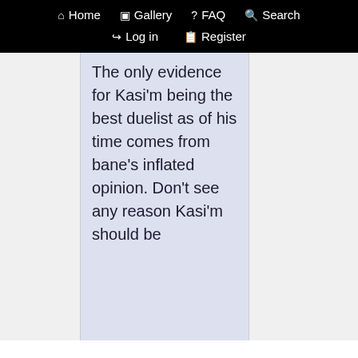Home  Gallery  FAQ  Search  Log in  Register
The only evidence for Kasi'm being the best duelist as of his time comes from bane's inflated opinion. Don't see any reason Kasi'm should be